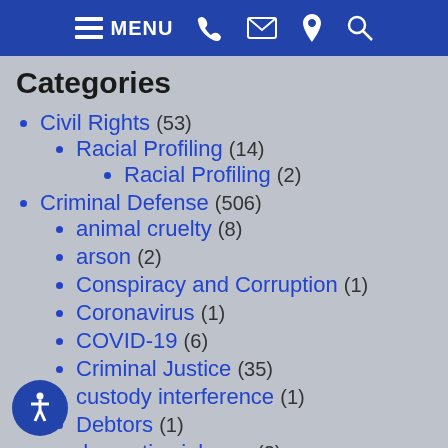MENU [navigation icons: phone, email, location, search]
Categories
Civil Rights (53)
Racial Profiling (14)
Racial Profiling (2)
Criminal Defense (506)
animal cruelty (8)
arson (2)
Conspiracy and Corruption (1)
Coronavirus (1)
COVID-19 (6)
Criminal Justice (35)
custody interference (1)
Debtors (1)
domestic violence (2)
Drone Flying (1)
drug crimes (44)
marijuana (27)